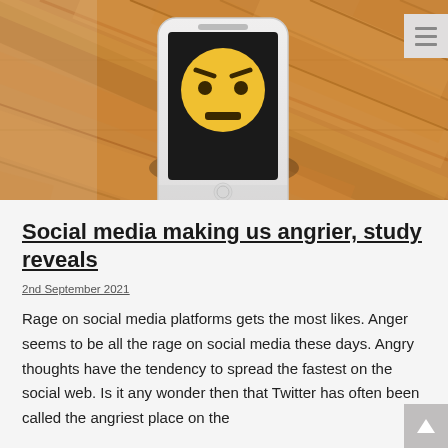[Figure (photo): A smartphone lying on a wooden surface displaying an angry emoji face on its screen. Photo taken from above.]
Social media making us angrier, study reveals
2nd September 2021
Rage on social media platforms gets the most likes. Anger seems to be all the rage on social media these days. Angry thoughts have the tendency to spread the fastest on the social web. Is it any wonder then that Twitter has often been called the angriest place on the